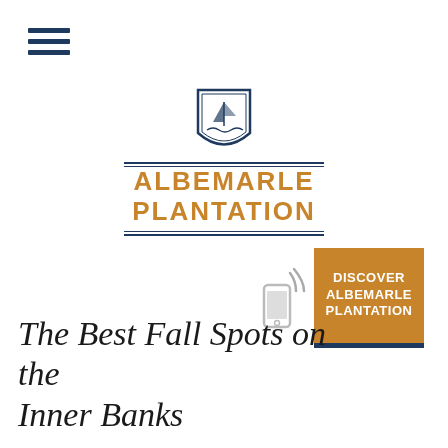[Figure (logo): Hamburger menu icon with three horizontal dark blue lines]
[Figure (logo): Albemarle Plantation logo: shield emblem with sailboat and water, horizontal rules in navy, text ALBEMARLE PLANTATION in gold/amber]
[Figure (infographic): Mobile phone icon with signal waves next to a gold/amber button reading DISCOVER ALBEMARLE PLANTATION with navy bottom border]
The Best Fall Spots on the Inner Banks